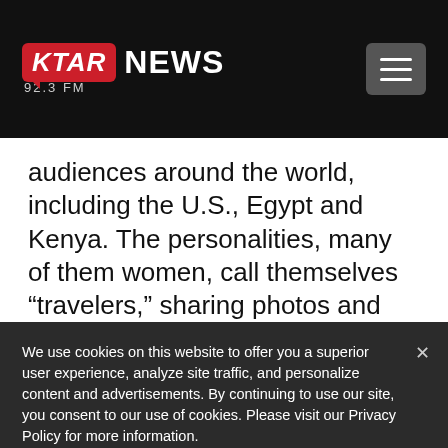[Figure (logo): KTAR News 92.3 FM logo with red speech-bubble icon and hamburger menu button on black header bar]
audiences around the world, including the U.S., Egypt and Kenya. The personalities, many of them women, call themselves “travelers,” sharing photos and videos that promote China as an idyllic destination.
We use cookies on this website to offer you a superior user experience, analyze site traffic, and personalize content and advertisements. By continuing to use our site, you consent to our use of cookies. Please visit our Privacy Policy for more information.